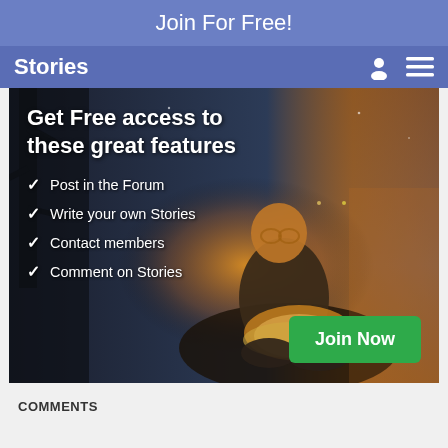Join For Free!
Stories
[Figure (photo): Person sitting outdoors at dusk reading a glowing book, with a dark moody background and warm light emanating from the book pages]
Get Free access to these great features
Post in the Forum
Write your own Stories
Contact members
Comment on Stories
Join Now
COMMENTS